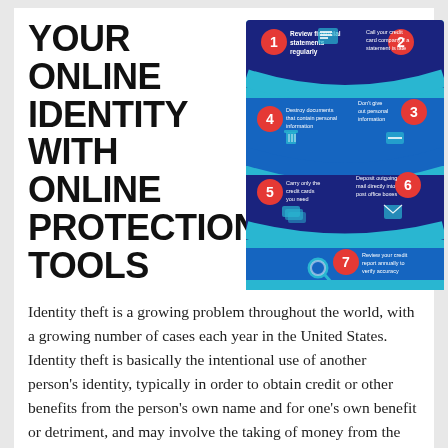YOUR ONLINE IDENTITY WITH ONLINE PROTECTION TOOLS
[Figure (infographic): An infographic showing 7 steps to protect your online identity. Steps shown in a snake/S-curve layout on a blue background with numbered red circles. Steps: 1. Review financial statements regularly, 2. Call your credit card company if a statement is late, 3. Don't give out personal information, 4. Destroy documents that contain personal information, 5. Carry only the credit cards you need, 6. Deposit outgoing mail directly into post office boxes, 7. Review your credit report annually to verify accuracy.]
Identity theft is a growing problem throughout the world, with a growing number of cases each year in the United States. Identity theft is basically the intentional use of another person's identity, typically in order to obtain credit or other benefits from the person's own name and for one's own benefit or detriment, and may involve the taking of money from the victim's bank account or any type of identification. It can be difficult to distinguish between a legitimate reason and a criminal act, which is why it is